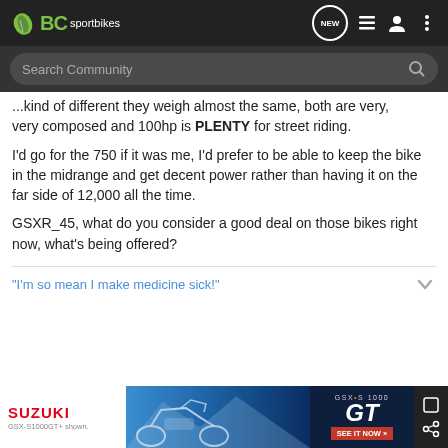BC sportbikes — navigation header with search
...kind of different they weigh almost the same, both are very, very composed and 100hp is PLENTY for street riding.
I'd go for the 750 if it was me, I'd prefer to be able to keep the bike in the midrange and get decent power rather than having it on the far side of 12,000 all the time.
GSXR_45, what do you consider a good deal on those bikes right now, what's being offered?
"I'm so mean I make medicine sick!"
[Figure (screenshot): Suzuki GSX-S1000 GT advertisement banner]